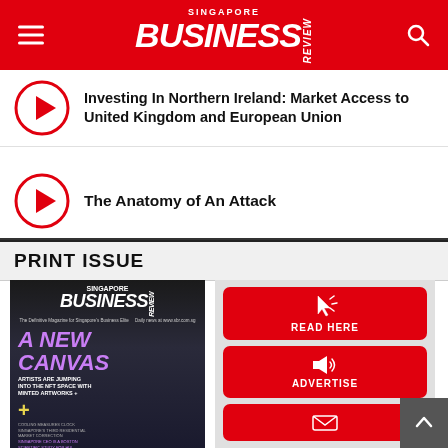Singapore Business Review
Investing In Northern Ireland: Market Access to United Kingdom and European Union
The Anatomy of An Attack
PRINT ISSUE
[Figure (photo): Singapore Business Review magazine cover featuring 'A NEW CANVAS' headline with astronaut/NFT imagery]
[Figure (infographic): Red buttons panel: READ HERE, ADVERTISE, and a third button with envelope icon]